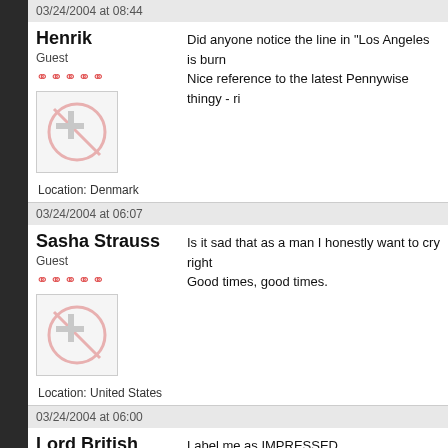Henrik
Guest
03/24/2004 at 08:44
Did anyone notice the line in "Los Angeles is burn Nice reference to the latest Pennywise thingy - ri
Location: Denmark
Sasha Strauss
Guest
03/24/2004 at 06:07
Is it sad that as a man I honestly want to cry right Good times, good times.
Location: United States
Lord British
Guest
03/24/2004 at 06:00
Label me as IMPRESSED